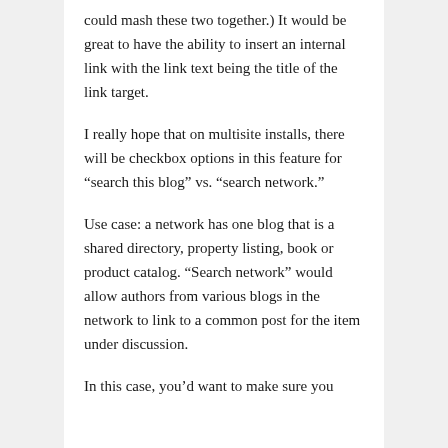could mash these two together.) It would be great to have the ability to insert an internal link with the link text being the title of the link target.
I really hope that on multisite installs, there will be checkbox options in this feature for “search this blog” vs. “search network.”
Use case: a network has one blog that is a shared directory, property listing, book or product catalog. “Search network” would allow authors from various blogs in the network to link to a common post for the item under discussion.
In this case, you’d want to make sure you